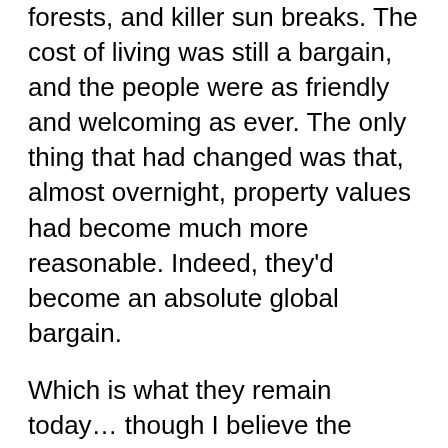forests, and killer sun breaks. The cost of living was still a bargain, and the people were as friendly and welcoming as ever. The only thing that had changed was that, almost overnight, property values had become much more reasonable. Indeed, they'd become an absolute global bargain.
Which is what they remain today… though I believe the bottom has been reached. We're around that bend, and values are inching up again.
In other words, this is the best time in a decade to be looking at Nicaragua.
Let's start by getting our bearings.
Nicaragua is in Central America, meaning it's just